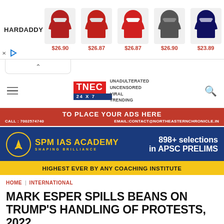[Figure (screenshot): HARDADDY advertisement banner showing 5 Christmas hoodies with prices $26.90, $26.87, $26.87, $26.90, $23.89]
[Figure (logo): TNEC 24x7 logo with tagline UNADULTERATED UNCENSORED VIRAL TRENDING]
[Figure (infographic): Red advertisement banner: TO PLACE YOUR ADS HERE, CALL: 7002574740, EMAIL:CONTACT@NORTHEASTERNCHRONICLE.IN]
[Figure (infographic): SPM IAS ACADEMY - SHAPING BRILLIANCE. 898+ selections in APSC PRELIMS. HIGHEST EVER BY ANY COACHING INSTITUTE]
HOME | INTERNATIONAL
MARK ESPER SPILLS BEANS ON TRUMP'S HANDLING OF PROTESTS, 2022